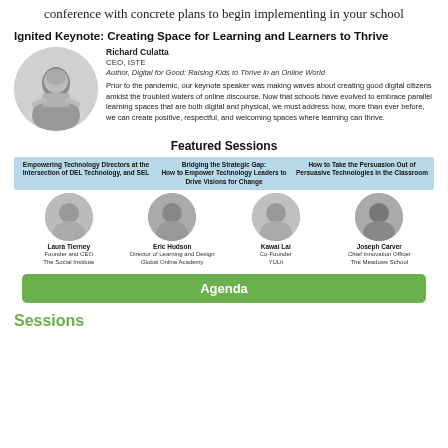conference with concrete plans to begin implementing in your school
Ignited Keynote: Creating Space for Learning and Learners to Thrive
[Figure (photo): Headshot of Richard Culatta, a man in a blue shirt with arms crossed, circular crop, black and white]
Richard Culatta
CEO, ISTE
Author, Digital for Good: Raising Kids to Thrive in an Online World
Prior to the pandemic, our keynote speaker was making waves about creating good digital citizens amidst the troubled waters of online discourse. Now that schools have evolved to embrace parallel learning spaces that are both digital and physical, we must address how, more than ever before, we can create positive, respectful, and welcoming spaces where learning can thrive.
Featured Sessions
Empowering Technology Directors at the Intersection of DEL Technology, and SEL | Bridging the Strategic Gap: How to Empower Technology Leaders to Drive Visions for Change | How to Take the Persuasion Out of Persuasive Technologies in the Classroom
[Figure (photo): Circular headshot of Laura Tierney, black and white]
Laura Tierney
Founder and CEO
The Social Institute
[Figure (photo): Circular headshot of Eric Hudson, black and white]
Eric Hudson
Director of Learning and Design
Global Online Academy
[Figure (photo): Circular headshot of Kawai Lai, black and white]
Kawai Lai
Co-Founder
YULit
[Figure (photo): Circular headshot of Joseph Carver, black and white]
Joseph Carver
Chief Innovation Officer
The Meadows School
Agenda
Sessions